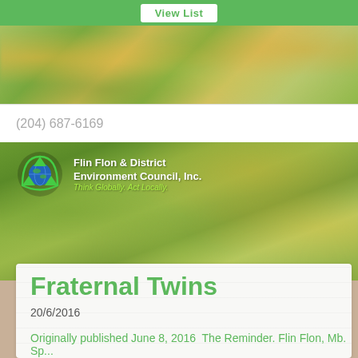View List
(204) 687-6169
[Figure (logo): Flin Flon & District Environment Council Inc. logo with globe and recycling arrows icon, tagline: Think Globally. Act Locally.]
Fraternal Twins
20/6/2016
Originally published June 8, 2016  The Reminder. Flin Flon, Mb. Sp... Coop.